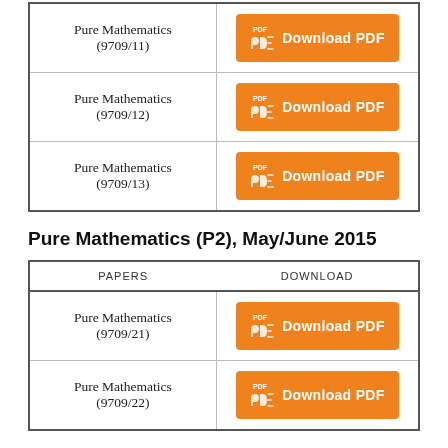| PAPERS | DOWNLOAD |
| --- | --- |
| Pure Mathematics (9709/11) | Download PDF |
| Pure Mathematics (9709/12) | Download PDF |
| Pure Mathematics (9709/13) | Download PDF |
Pure Mathematics (P2), May/June 2015
| PAPERS | DOWNLOAD |
| --- | --- |
| Pure Mathematics (9709/21) | Download PDF |
| Pure Mathematics (9709/22) | Download PDF |